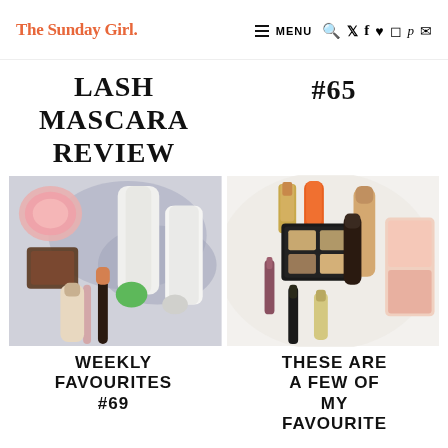The Sunday Girl. | MENU (navigation icons)
LASH MASCARA REVIEW
#65
[Figure (photo): Flat lay of makeup products including foundation, mascara, lipstick tubes, blush compact, and skincare products on a grey cloth background]
[Figure (photo): Flat lay of makeup products including lipstick, nail polish, foundation, eyeshadow palette, mascara, and a highlighter palette on a white fur background]
WEEKLY FAVOURITES #69
THESE ARE A FEW OF MY FAVOURITE